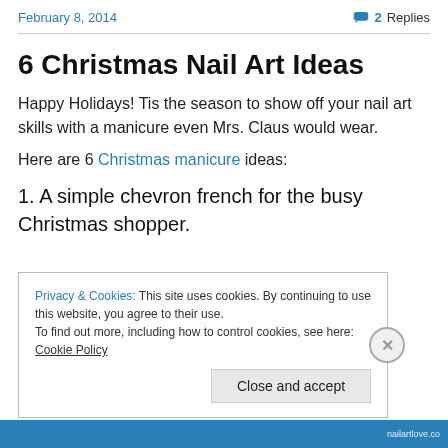February 8, 2014    2 Replies
6 Christmas Nail Art Ideas
Happy Holidays! Tis the season to show off your nail art skills with a manicure even Mrs. Claus would wear.
Here are 6 Christmas manicure ideas:
1. A simple chevron french for the busy Christmas shopper.
Privacy & Cookies: This site uses cookies. By continuing to use this website, you agree to their use.
To find out more, including how to control cookies, see here: Cookie Policy
Close and accept